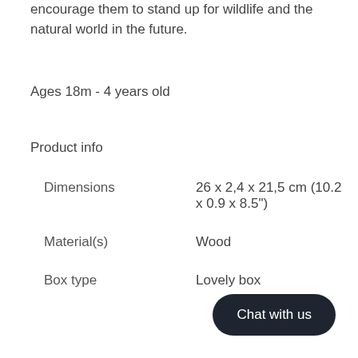encourage them to stand up for wildlife and the natural world in the future.
Ages 18m - 4 years old
Product info
| Dimensions | 26 x 2,4 x 21,5 cm (10.2 x 0.9 x 8.5") |
| Material(s) | Wood |
| Box type | Lovely box |
Chat with us